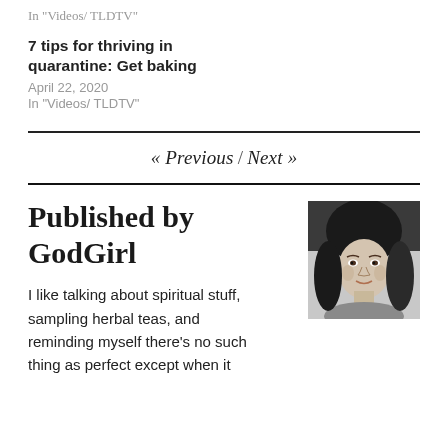In "Videos/ TLDTV"
7 tips for thriving in quarantine: Get baking
April 22, 2020
In "Videos/ TLDTV"
« Previous / Next »
Published by GodGirl
[Figure (photo): Black and white portrait photo of GodGirl, a woman with long dark hair, looking at the camera with a slight smile.]
I like talking about spiritual stuff, sampling herbal teas, and reminding myself there's no such thing as perfect except when it